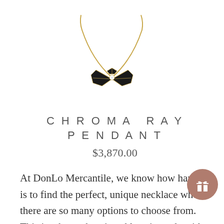[Figure (photo): A gold chain necklace with a black and gold fan/bow-shaped pendant with a small diamond/crystal center]
CHROMA RAY PENDANT
$3,870.00
At DonLo Mercantile, we know how hard it is to find the perfect, unique necklace when there are so many options to choose from. This is why each arti necklace is made with the quality and durability our customers have come to